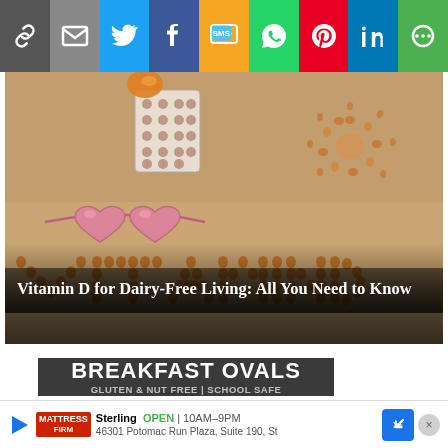[Figure (screenshot): Social media share bar with icons: link, email, Twitter, Facebook, SMS, WhatsApp, Pinterest, LinkedIn, More]
[Figure (photo): Beach sand with 'VITAMIN D' spelled out in pebbles/rocks, heart-shaped pink sunglasses, pill blister pack, and a sun shape made of pebbles in top right]
Vitamin D for Dairy-Free Living: All You Need to Know
[Figure (screenshot): Advertisement banner for Breakfast Ovals - Gluten & Nut Free | School Safe]
[Figure (screenshot): Bottom ad bar: Mattress Firm Sterling OPEN 10AM-9PM 46301 Potomac Run Plaza, Suite 190, St]